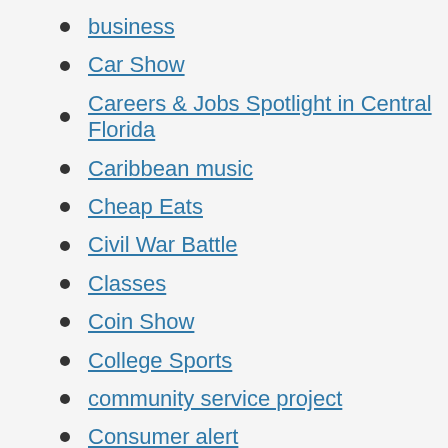business
Car Show
Careers & Jobs Spotlight in Central Florida
Caribbean music
Cheap Eats
Civil War Battle
Classes
Coin Show
College Sports
community service project
Consumer alert
Consumer Notice
Dancing
DIY